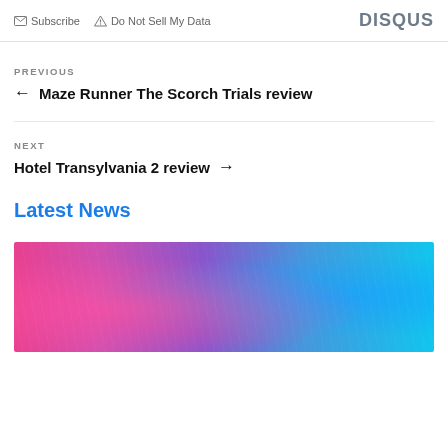Subscribe   Do Not Sell My Data   DISQUS
PREVIOUS
← Maze Runner The Scorch Trials review
NEXT
Hotel Transylvania 2 review →
Latest News
[Figure (photo): Colorful abstract image with pink and blue tones, likely a movie promotional image]